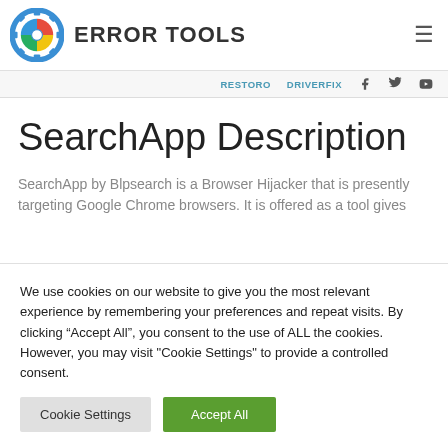ERROR TOOLS
RESTORO  DRIVERFIX
SearchApp Description
SearchApp by Blpsearch is a Browser Hijacker that is presently targeting Google Chrome browsers. It is offered as a tool gives
We use cookies on our website to give you the most relevant experience by remembering your preferences and repeat visits. By clicking “Accept All”, you consent to the use of ALL the cookies. However, you may visit "Cookie Settings" to provide a controlled consent.
Cookie Settings  Accept All